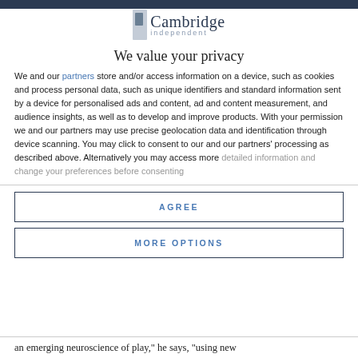Cambridge Independent
We value your privacy
We and our partners store and/or access information on a device, such as cookies and process personal data, such as unique identifiers and standard information sent by a device for personalised ads and content, ad and content measurement, and audience insights, as well as to develop and improve products. With your permission we and our partners may use precise geolocation data and identification through device scanning. You may click to consent to our and our partners' processing as described above. Alternatively you may access more detailed information and change your preferences before consenting
AGREE
MORE OPTIONS
an emerging neuroscience of play," he says, "using new